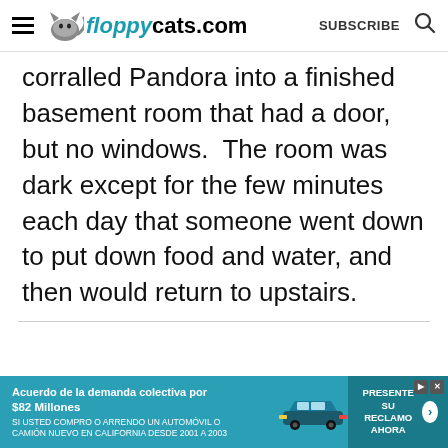floppycats.com  SUBSCRIBE
corralled Pandora into a finished basement room that had a door, but no windows.  The room was dark except for the few minutes each day that someone went down to put down food and water, and then would return to upstairs.
[Figure (other): Advertisement banner: Acuerdo de la demanda colectiva por $82 Millones - SI USTED COMPRO O ARRENDO UN AUTOMOVIL O CAMION NUEVO EN CALIFORNIA DESDE 2001 A 2003 - PRESENTE SU RECLAMO AHORA]